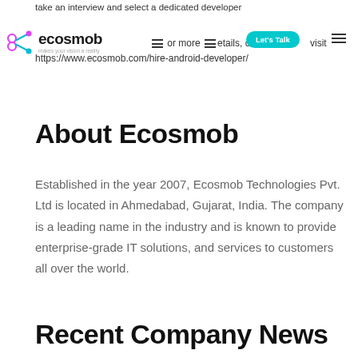take an interview and select a dedicated developer of their choice. For more details, or to visit: https://www.ecosmob.com/hire-android-developer/
About Ecosmob
Established in the year 2007, Ecosmob Technologies Pvt. Ltd is located in Ahmedabad, Gujarat, India. The company is a leading name in the industry and is known to provide enterprise-grade IT solutions, and services to customers all over the world.
Recent Company News